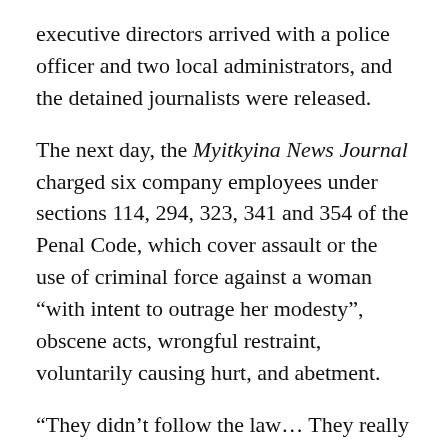executive directors arrived with a police officer and two local administrators, and the detained journalists were released.
The next day, the Myitkyina News Journal charged six company employees under sections 114, 294, 323, 341 and 354 of the Penal Code, which cover assault or the use of criminal force against a woman “with intent to outrage her modesty”, obscene acts, wrongful restraint, voluntarily causing hurt, and abetment.
“They didn’t follow the law… They really acted like gangsters”, Brang Mai said.
Journalists defiant
The charges were filed amid an increasingly